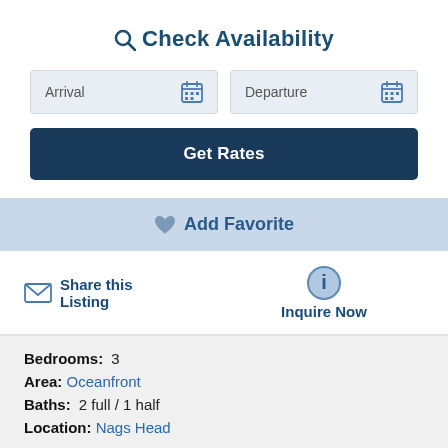Check Availability
[Figure (screenshot): Arrival date input field with calendar icon]
[Figure (screenshot): Departure date input field with calendar icon]
Get Rates
Add Favorite
Share this Listing
Inquire Now
Bedrooms: 3
Area: Oceanfront
Baths: 2 full / 1 half
Location: Nags Head